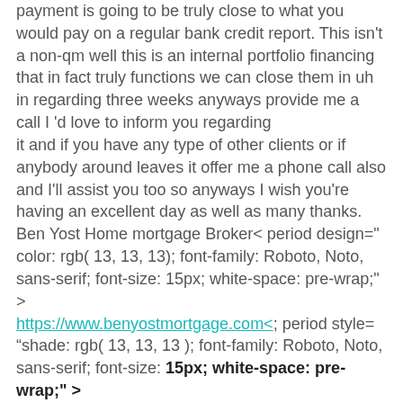payment is going to be truly close to what you would pay on a regular bank credit report. This isn't a non-qm well this is an internal portfolio financing that in fact truly functions we can close them in uh in regarding three weeks anyways provide me a call I 'd love to inform you regarding it and if you have any type of other clients or if anybody around leaves it offer me a phone call also and I'll assist you too so anyways I wish you're having an excellent day as well as many thanks. Ben Yost Home mortgage Broker< period design=" color: rgb( 13, 13, 13); font-family: Roboto, Noto, sans-serif; font-size: 15px; white-space: pre-wrap;" > https://www.benyostmortgage.com&lt; period style="shade: rgb( 13, 13, 13 ); font-family: Roboto, Noto, sans-serif; font-size: 15px; white-space: pre-wrap;" >
– to request home loan in CO. Adjustment House Mortgage. 8055 East Tufts Ave. Suite 420. Denver Colorado 80237. nmls < span design="color: rgb( 13,